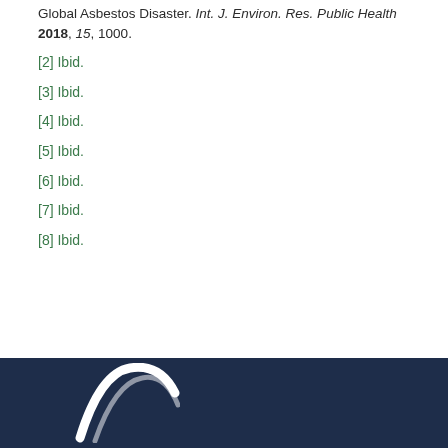Global Asbestos Disaster. Int. J. Environ. Res. Public Health 2018, 15, 1000.
[2] Ibid.
[3] Ibid.
[4] Ibid.
[5] Ibid.
[6] Ibid.
[7] Ibid.
[8] Ibid.
[Figure (logo): White arc/swoosh logo on dark navy background]